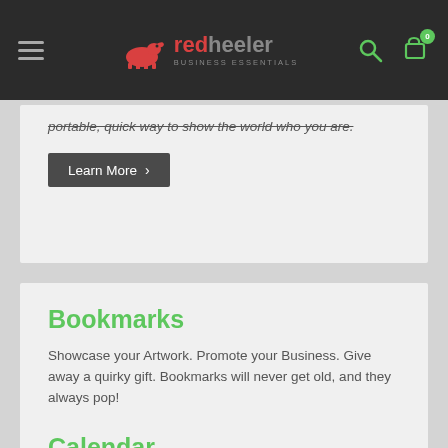Red Heeler Business Essentials — navigation bar with hamburger menu, logo, search, and cart (0 items)
portable, quick way to show the world who you are.
Learn More >
Bookmarks
Showcase your Artwork. Promote your Business. Give away a quirky gift. Bookmarks will never get old, and they always pop!
Learn More >
Calendar